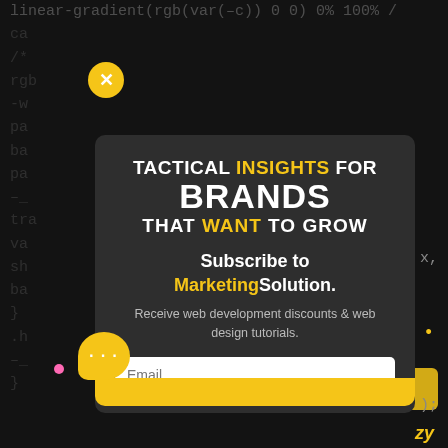[Figure (screenshot): A dark-themed code editor or website background showing CSS code snippets, overlaid by a modal popup advertisement. The modal has a bold headline 'TACTICAL INSIGHTS FOR BRANDS THAT WANT TO GROW', a subscription prompt 'Subscribe to MarketingSolution.', a description 'Receive web development discounts & web design tutorials.', and an Email input field. There is a close (X) button in yellow circle at top-left of modal, a yellow chat bubble icon at the bottom-left, and a yellow bottom bar. The background code text is in gray on a dark charcoal background.]